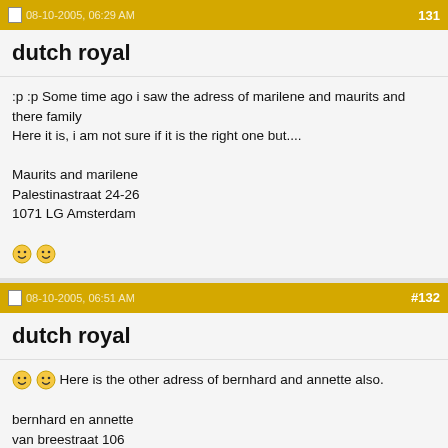08-10-2005, 06:29 AM  131
dutch royal
:p :p Some time ago i saw the adress of marilene and maurits and there family
Here it is, i am not sure if it is the right one but....

Maurits and marilene
Palestinastraat 24-26
1071 LG Amsterdam

😊😊
08-10-2005, 06:51 AM  #132
dutch royal
😊😊 Here is the other adress of bernhard and annette also.

bernhard en annette
van breestraat 106
1071 zt amsterdam